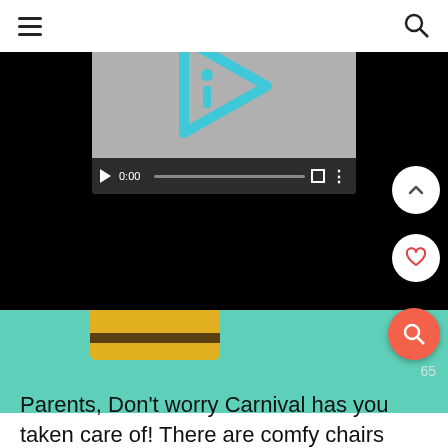[Figure (screenshot): Mobile app screenshot showing a video player with a play button and timestamp 0:00, an iD logo overlay, a photo of a toy on a colorful sports court surface, and UI elements including hamburger menu, search icon, up arrow button, heart button, orange search button, and number 65]
Parents, Don't worry Carnival has you taken care of! There are comfy chairs all over the sports court so you can sit back